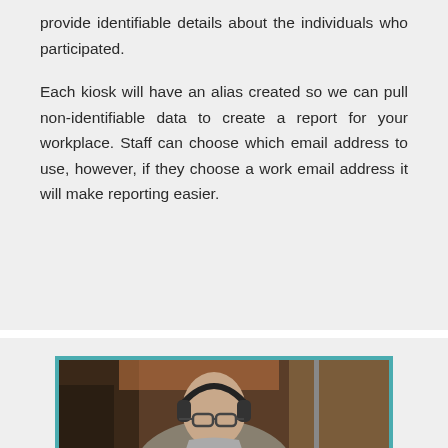provide identifiable details about the individuals who participated.

Each kiosk will have an alias created so we can pull non-identifiable data to create a report for your workplace. Staff can choose which email address to use, however, if they choose a work email address it will make reporting easier.
[Figure (photo): A man wearing headphones and glasses, seen from the side in what appears to be a recording studio or similar indoor environment.]